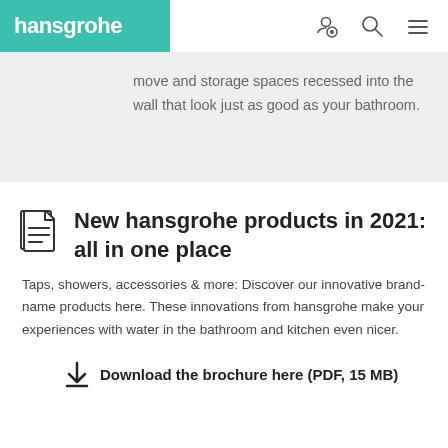hansgrohe
move and storage spaces recessed into the wall that look just as good as your bathroom.
New hansgrohe products in 2021: all in one place
Taps, showers, accessories & more: Discover our innovative brand-name products here. These innovations from hansgrohe make your experiences with water in the bathroom and kitchen even nicer.
Download the brochure here (PDF, 15 MB)